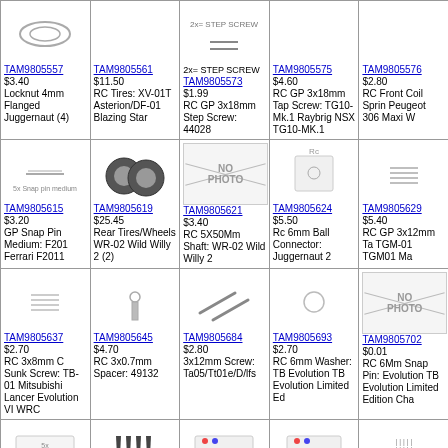| TAM9805557 $3.40 Locknut 4mm Flanged Juggernaut (4) | TAM9805561 $11.50 RC Tires: XV-01T Asterion/DF-01 Blazing Star | 2x= STEP SCREW TAM9805573 $1.99 RC GP 3x18mm Step Screw: 44028 | TAM9805575 $4.60 RC GP 3x18mm Tap Screw: TG10-Mk.1 Raybrig NSX TG10-MK.1 | TAM9805576 $2.80 RC Front Coil Spring Peugeot 306 Maxi W |
| TAM9805615 $3.20 GP Snap Pin Medium: F201 Ferrari F2011 | TAM9805619 $25.45 Rear Tires/Wheels WR-02 Wild Willy 2 (2) | TAM9805621 $3.40 RC 5X50Mm Shaft: WR-02 Wild Willy 2 | TAM9805624 $5.50 Rc 6mm Ball Connector: Juggernaut 2 | TAM9805629 $5.40 RC GP 3x12mm Tap TGM-01 TGM01 Ma |
| TAM9805637 $2.70 RC 3x8mm C Sunk Screw: TB-01 Mitsubishi Lancer Evolution VI WRC | TAM9805645 $4.70 RC 3x0.7mm Spacer: 49132 | TAM9805684 $2.80 3x12mm Screw: Ta05/Tt01e/D/lfs | TAM9805693 $2.70 RC 6mm Washer: TB Evolution TB Evolution Limited Ed | TAM9805702 $0.01 RC 6Mm Snap Pin: Evolution TB Evolution Limited Edition Cha |
| TAM9805729 $2.86 RC 3X21Mm Tapping Screw: TA04 Ferrari 360 Modena Challenge | TAM9805732 $5.50 Hex Screw Mount TA04 Ferrari 360 Modena Challenge (4) | TAM9805735 $13.00 Rc Diff Joint L & R: Trf414m Chassis Kit (Limited Release) | TAM9805736 $4.90 Rc Diff Housing Plate: Trf414m Chassis Kit (Limited | TAM9805754 $2.80 Tapping Screw 3x8mm 01 Subaru Impreza Prototype 58 |